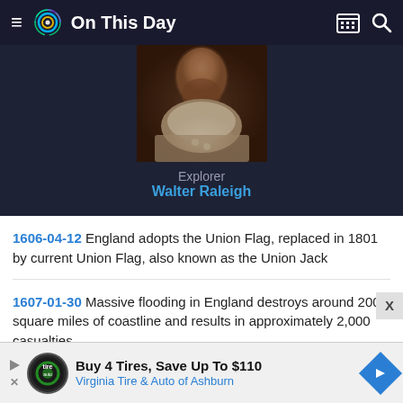On This Day
[Figure (photo): Portrait painting of Walter Raleigh, showing his face and upper torso with a ruffled collar and doublet]
Explorer
Walter Raleigh
1606-04-12 England adopts the Union Flag, replaced in 1801 by current Union Flag, also known as the Union Jack
1607-01-30 Massive flooding in England destroys around 200 square miles of coastline and results in approximately 2,000 casualties
Buy 4 Tires, Save Up To $110 Virginia Tire & Auto of Ashburn